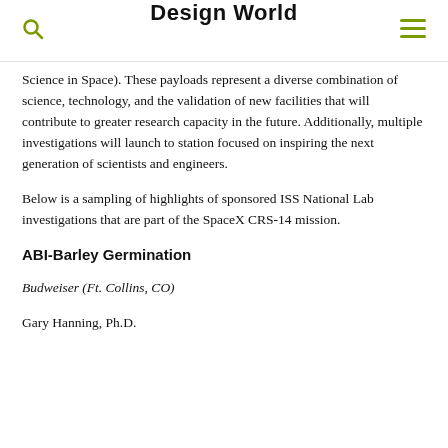Design World
Science in Space). These payloads represent a diverse combination of science, technology, and the validation of new facilities that will contribute to greater research capacity in the future. Additionally, multiple investigations will launch to station focused on inspiring the next generation of scientists and engineers.
Below is a sampling of highlights of sponsored ISS National Lab investigations that are part of the SpaceX CRS-14 mission.
ABI-Barley Germination
Budweiser (Ft. Collins, CO)
Gary Hanning, Ph.D.